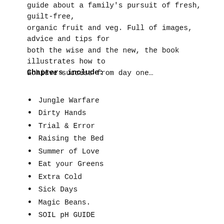guide about a family's pursuit of fresh, guilt-free, organic fruit and veg. Full of images, advice and tips for both the wise and the new, the book illustrates how to achieve success from day one…
Chapters include:
Jungle Warfare
Dirty Hands
Trial & Error
Raising the Bed
Summer of Love
Eat your Greens
Extra Cold
Sick Days
Magic Beans.
SOIL pH GUIDE